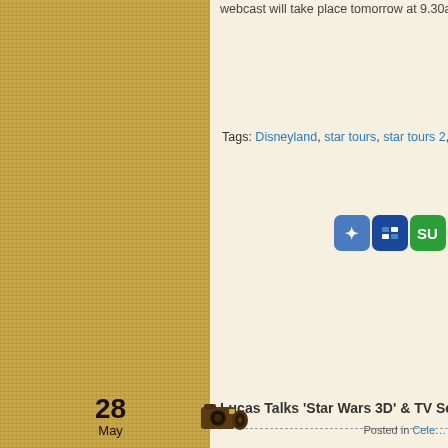webcast will take place tomorrow at 9.30am pa…
Tags: Disneyland, star tours, star tours 2, Star Tou…
[Figure (other): Social sharing icons: Technorati (blue), Del.icio.us (blue/dark), StumbleUpon (green), Reddit (red alien), Twitter (teal bird), RSS (orange)]
28 May
[Figure (illustration): Camera/movie camera icon illustration]
Lucas Talks 'Star Wars 3D' & TV Serie…
Posted in Cele…
"Star Tours: The Adventures Continue" has rece… World and will begin its first official tours this Fri… Lucas made an appearance on G4's Attack of th… exclusively about next year's 3D conversion of S… Phantom Menace, and why the […]
Tags: 3D, George Lucas, star tours, star tours 2, S… Continue, Star Wars